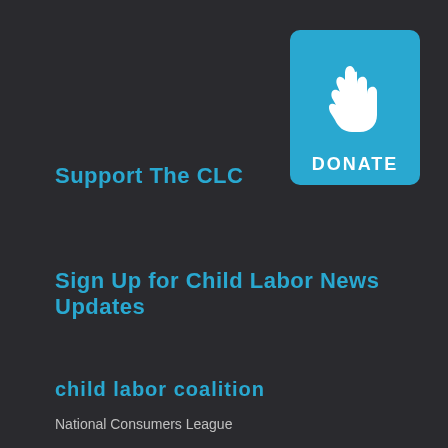[Figure (illustration): Donate button with white hand icon on blue rounded rectangle background, with DONATE text below the hand]
Support the CLC
Sign Up for Child Labor News Updates
child labor coalition
National Consumers League